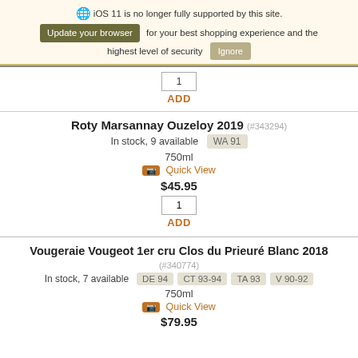iOS 11 is no longer fully supported by this site. Update your browser for your best shopping experience and the highest level of security  Ignore
1
ADD
Roty Marsannay Ouzeloy 2019 (#343294)
In stock, 9 available  WA 91
750ml
Quick View
$45.95
1
ADD
Vougeraie Vougeot 1er cru Clos du Prieuré Blanc 2018 (#340774)
In stock, 7 available  DE 94  CT 93-94  TA 93  V 90-92
750ml
Quick View
$79.95